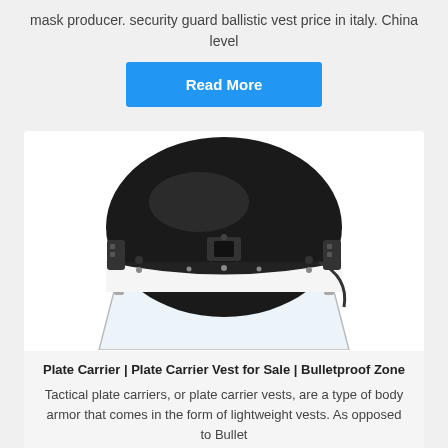mask producer. security guard ballistic vest price in italy. China level
[Figure (other): Blue 'Read More' button]
[Figure (photo): Black tactical helmet with clear face shield/visor on white background]
Plate Carrier | Plate Carrier Vest for Sale | Bulletproof Zone
Tactical plate carriers, or plate carrier vests, are a type of body armor that comes in the form of lightweight vests. As opposed to Bullet